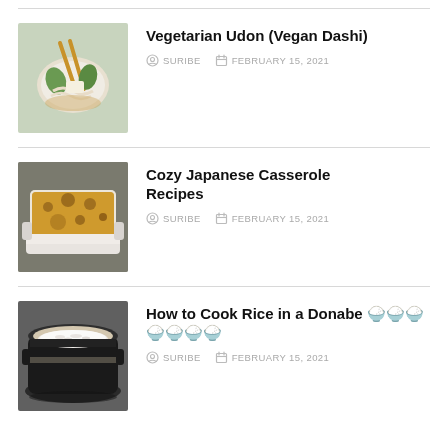[Figure (photo): Bowl of vegetarian udon soup with bok choy and chopsticks]
Vegetarian Udon (Vegan Dashi)
SURIBE  FEBRUARY 15, 2021
[Figure (photo): Japanese casserole dish with browned cheesy topping in white baking dish]
Cozy Japanese Casserole Recipes
SURIBE  FEBRUARY 15, 2021
[Figure (photo): Black donabe pot filled with white rice]
How to Cook Rice in a Donabe 土鍋ご飯
SURIBE  FEBRUARY 15, 2021